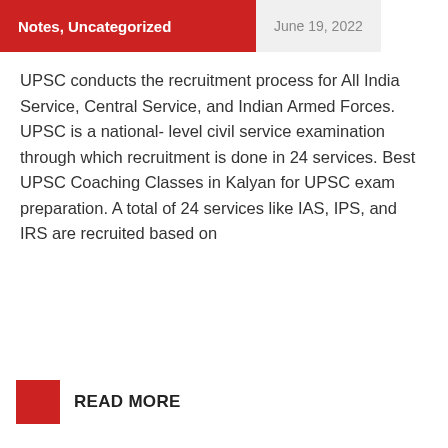Notes, Uncategorized   June 19, 2022
UPSC conducts the recruitment process for All India Service, Central Service, and Indian Armed Forces. UPSC is a national- level civil service examination through which recruitment is done in 24 services. Best UPSC Coaching Classes in Kalyan for UPSC exam preparation. A total of 24 services like IAS, IPS, and IRS are recruited based on
READ MORE
Best UPSC Coaching Classes in Dadar
General Science, Notes, Uncategorized
June 14, 2022